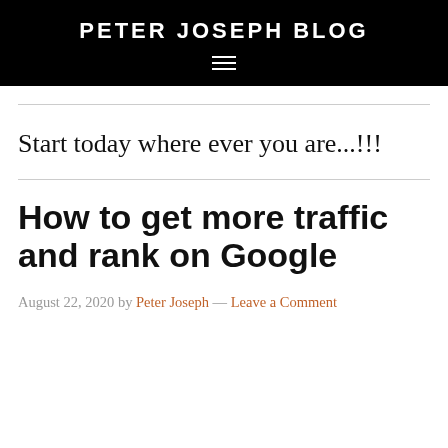PETER JOSEPH BLOG
Start today where ever you are...!!!
How to get more traffic and rank on Google
August 22, 2020 by Peter Joseph — Leave a Comment